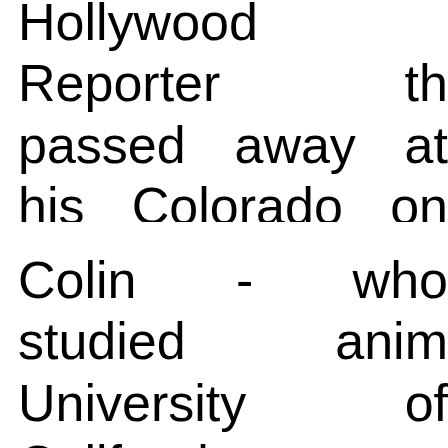Hollywood Reporter th passed away at his Colorado on Saturday.
Colin - who studied anim University of California attended Frank Lloyd School of Architecture the prototypes for sever